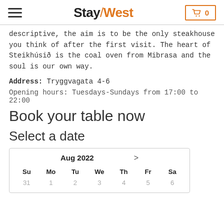Stay/West
descriptive, the aim is to be the only steakhouse you think of after the first visit. The heart of Steikhúsið is the coal oven from Mibrasa and the soul is our own way.
Address: Tryggvagata 4-6
Opening hours: Tuesdays-Sundays from 17:00 to 22:00
Book your table now
Select a date
| Su | Mo | Tu | We | Th | Fr | Sa |
| --- | --- | --- | --- | --- | --- | --- |
| 31 | 1 | 2 | 3 | 4 | 5 | 6 |